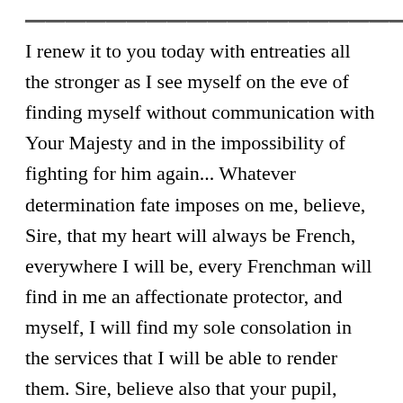I renew it to you today with entreaties all the stronger as I see myself on the eve of finding myself without communication with Your Majesty and in the impossibility of fighting for him again... Whatever determination fate imposes on me, believe, Sire, that my heart will always be French, everywhere I will be, every Frenchman will find in me an affectionate protector, and myself, I will find my sole consolation in the services that I will be able to render them. Sire, believe also that your pupil, your brother-in-law, your most devoted friend will always show himself worthy of you; believe that the attachment that he holds for you is unalterable, and speaks to his heart with all the more force as he sees you struggling with the misfortune that our experience has mastered for us...